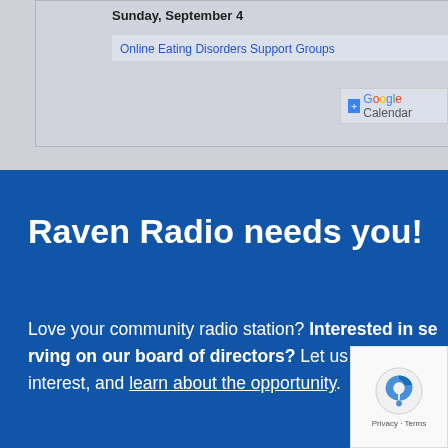Sunday, September 4
Online Eating Disorders Support Groups
[Figure (logo): Google Calendar badge with +Google Calendar text]
Raven Radio needs you!
Love your community radio station? Interested in serving on our board of directors? Let us know your interest, and learn about the opportunity.
Click here!
Sunrise & Sunset
[Figure (logo): reCAPTCHA badge with Privacy and Terms]